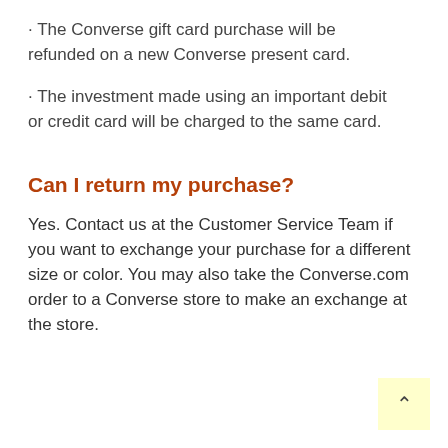· The Converse gift card purchase will be refunded on a new Converse present card.
· The investment made using an important debit or credit card will be charged to the same card.
Can I return my purchase?
Yes. Contact us at the Customer Service Team if you want to exchange your purchase for a different size or color. You may also take the Converse.com order to a Converse store to make an exchange at the store.